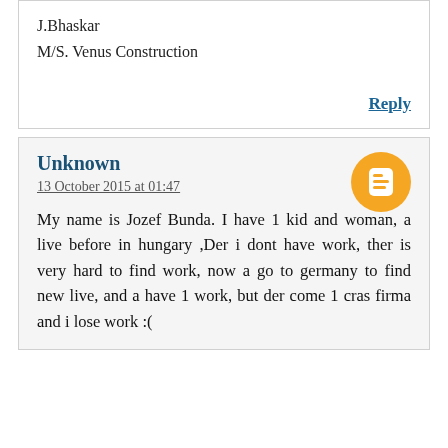J.Bhaskar
M/S. Venus Construction
Reply
Unknown
13 October 2015 at 01:47
My name is Jozef Bunda. I have 1 kid and woman, a live before in hungary ,Der i dont have work, ther is very hard to find work, now a go to germany to find new live, and a have 1 work, but der come 1 cras firma and i lose work :(